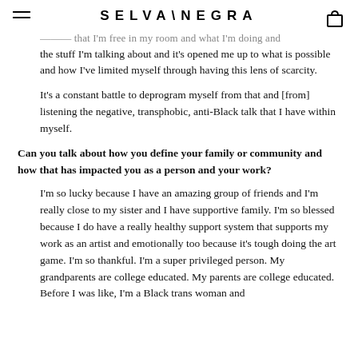SELVA\NEGRA
...that I'm free in my room and what I'm doing and the stuff I'm talking about and it's opened me up to what is possible and how I've limited myself through having this lens of scarcity.
It's a constant battle to deprogram myself from that and [from] listening the negative, transphobic, anti-Black talk that I have within myself.
Can you talk about how you define your family or community and how that has impacted you as a person and your work?
I'm so lucky because I have an amazing group of friends and I'm really close to my sister and I have supportive family. I'm so blessed because I do have a really healthy support system that supports my work as an artist and emotionally too because it's tough doing the art game. I'm so thankful. I'm a super privileged person. My grandparents are college educated. My parents are college educated. Before I was like, I'm a Black trans woman and